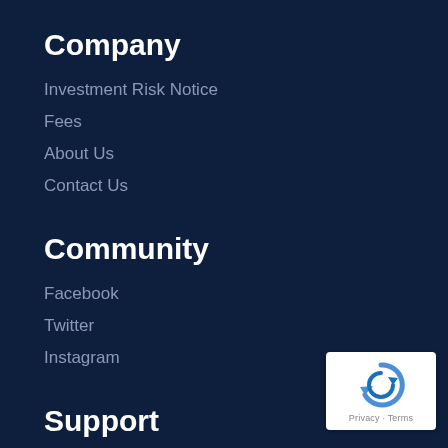Company
Investment Risk Notice
Fees
About Us
Contact Us
Community
Facebook
Twitter
Instagram
Support
Status
Privacy Policy
Terms of Use
[Figure (logo): reCAPTCHA badge with Privacy and Terms links]